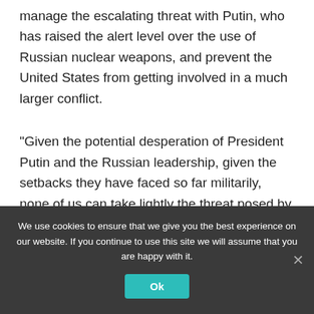manage the escalating threat with Putin, who has raised the alert level over the use of Russian nuclear weapons, and prevent the United States from getting involved in a much larger conflict.
“Given the potential desperation of President Putin and the Russian leadership, given the setbacks they have faced so far militarily, none of us can take lightly the threat posed by a potential recourse tactical nukes or low-yield nukes,” CIA Director William Burns said during a recent speech at the Georgia Institute of Technology
We use cookies to ensure that we give you the best experience on our website. If you continue to use this site we will assume that you are happy with it.